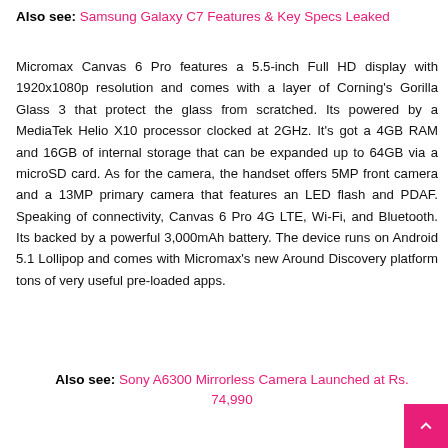Also see: Samsung Galaxy C7 Features & Key Specs Leaked
Micromax Canvas 6 Pro features a 5.5-inch Full HD display with 1920x1080p resolution and comes with a layer of Corning's Gorilla Glass 3 that protect the glass from scratched. Its powered by a MediaTek Helio X10 processor clocked at 2GHz. It's got a 4GB RAM and 16GB of internal storage that can be expanded up to 64GB via a microSD card. As for the camera, the handset offers 5MP front camera and a 13MP primary camera that features an LED flash and PDAF. Speaking of connectivity, Canvas 6 Pro 4G LTE, Wi-Fi, and Bluetooth. Its backed by a powerful 3,000mAh battery. The device runs on Android 5.1 Lollipop and comes with Micromax's new Around Discovery platform tons of very useful pre-loaded apps.
Also see: Sony A6300 Mirrorless Camera Launched at Rs. 74,990